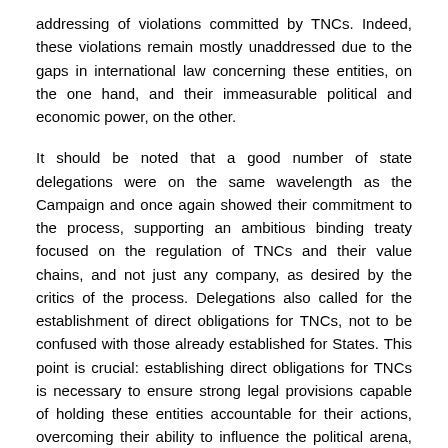addressing of violations committed by TNCs. Indeed, these violations remain mostly unaddressed due to the gaps in international law concerning these entities, on the one hand, and their immeasurable political and economic power, on the other.
It should be noted that a good number of state delegations were on the same wavelength as the Campaign and once again showed their commitment to the process, supporting an ambitious binding treaty focused on the regulation of TNCs and their value chains, and not just any company, as desired by the critics of the process. Delegations also called for the establishment of direct obligations for TNCs, not to be confused with those already established for States. This point is crucial: establishing direct obligations for TNCs is necessary to ensure strong legal provisions capable of holding these entities accountable for their actions, overcoming their ability to influence the political arena, and escape national jurisdictions.
On the other hand, we still find the same group of states that want nothing to do with this treaty, or who advocate a treaty